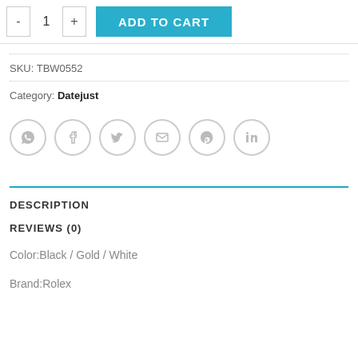[Figure (screenshot): Add to cart UI with quantity selector (- 1 +) and cyan ADD TO CART button]
SKU: TBW0552
Category: Datejust
[Figure (other): Social sharing icons: WhatsApp, Facebook, Twitter, Email, Pinterest, LinkedIn]
DESCRIPTION
REVIEWS (0)
Color:Black / Gold / White
Brand:Rolex